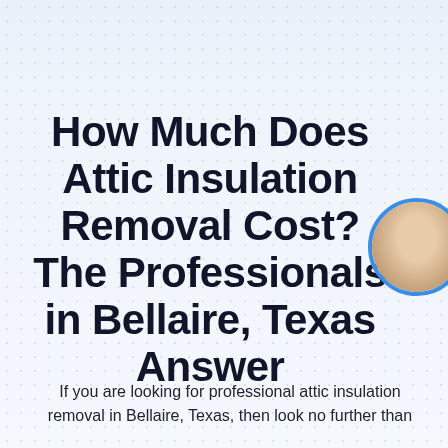How Much Does Attic Insulation Removal Cost? The Professionals in Bellaire, Texas Answer
[Figure (photo): Circular portrait photo partially visible at top right, showing a person, with a blue circular border]
If you are looking for professional attic insulation removal in Bellaire, Texas, then look no further than